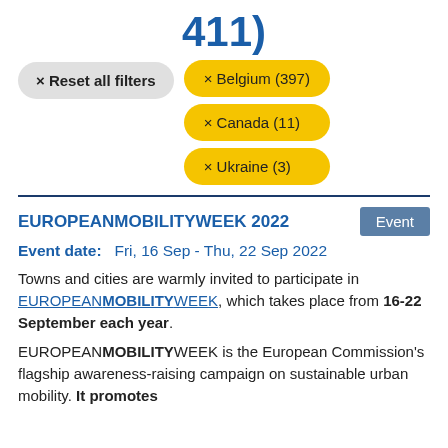411)
× Reset all filters
× Belgium (397)
× Canada (11)
× Ukraine (3)
EUROPEANMOBILITYWEEK 2022
Event
Event date:   Fri, 16 Sep - Thu, 22 Sep 2022
Towns and cities are warmly invited to participate in EUROPEANMOBILITYWEEK, which takes place from 16-22 September each year.
EUROPEANMOBILITYWEEK is the European Commission's flagship awareness-raising campaign on sustainable urban mobility. It promotes